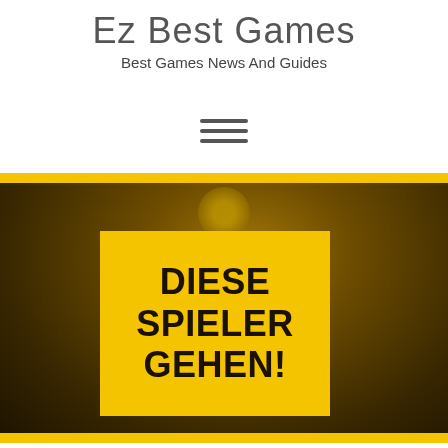Ez Best Games
Best Games News And Guides
[Figure (other): Hamburger menu icon (three horizontal lines)]
[Figure (photo): Dark amber-tinted background image showing a blurred basketball player figure with a yellow banner overlay reading DIESE SPIELER GEHEN! in bold black text on yellow background]
DIESE SPIELER GEHEN!